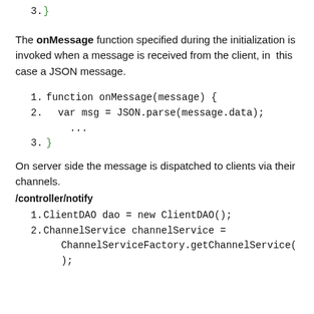3. }
The onMessage function specified during the initialization is invoked when a message is received from the client, in this case a JSON message.
1. function onMessage(message) {
2.   var msg = JSON.parse(message.data);
...
3. }
On server side the message is dispatched to clients via their channels.
/controller/notify
1. ClientDAO dao = new ClientDAO();
2. ChannelService channelService = ChannelServiceFactory.getChannelService();